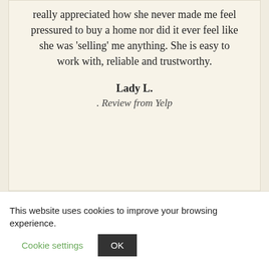really appreciated how she never made me feel pressured to buy a home nor did it ever feel like she was 'selling' me anything. She is easy to work with, reliable and trustworthy.
Lady L.
. Review from Yelp
This website uses cookies to improve your browsing experience.